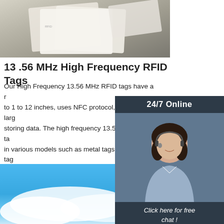[Figure (photo): Photo of RFID cards/tags on a surface, top portion cropped]
13 .56 MHz High Frequency RFID Tags
Our High Frequency 13.56 MHz RFID tags have a r... to 1 to 12 inches, uses NFC protocol, and has a larg... storing data. The high frequency 13.56 MHz RFID ta... in various models such as metal tags, wrist band tag... cards, mount on metal tags, round paper tags, clear... passive RFID tags ...
[Figure (photo): Customer service representative with headset, 24/7 Online sidebar panel with dark background, QUOTATION button]
[Figure (logo): TOP logo with orange dots above text]
[Figure (photo): Blue water or sky landscape photo at bottom of page]